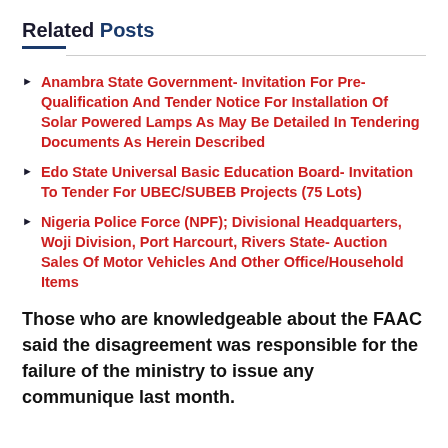Related Posts
Anambra State Government- Invitation For Pre-Qualification And Tender Notice For Installation Of Solar Powered Lamps As May Be Detailed In Tendering Documents As Herein Described
Edo State Universal Basic Education Board- Invitation To Tender For UBEC/SUBEB Projects (75 Lots)
Nigeria Police Force (NPF); Divisional Headquarters, Woji Division, Port Harcourt, Rivers State- Auction Sales Of Motor Vehicles And Other Office/Household Items
Those who are knowledgeable about the FAAC said the disagreement was responsible for the failure of the ministry to issue any communique last month.